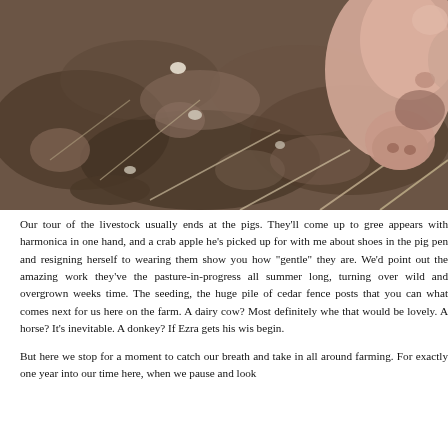[Figure (photo): Close-up photograph of a pig's snout and face near dark soil and roots, showing the pig rooting in the dirt. The pig's pink snout and face are visible in the upper right, with churned dark earth, small rocks, and plant roots filling most of the frame.]
Our tour of the livestock usually ends at the pigs. They'll come up to gree appears with harmonica in one hand, and a crab apple he's picked up for with me about shoes in the pig pen and resigning herself to wearing them show you how "gentle" they are. We'd point out the amazing work they've the pasture-in-progress all summer long, turning over wild and overgrown weeks time. The seeding, the huge pile of cedar fence posts that you can what comes next for us here on the farm. A dairy cow? Most definitely whe that would be lovely. A horse? It's inevitable. A donkey? If Ezra gets his wis begin.
But here we stop for a moment to catch our breath and take in all around farming. For exactly one year into our time here, when we pause and look